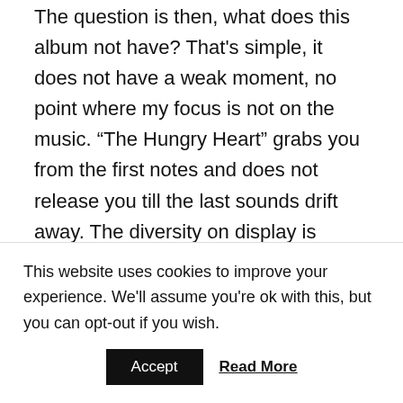The question is then, what does this album not have? That's simple, it does not have a weak moment, no point where my focus is not on the music. “The Hungry Heart” grabs you from the first notes and does not release you till the last sounds drift away. The diversity on display is keeping your attention fully on the music.
Philipp’s songwriting is of a very high level and, besides that, he plays a lot of the instruments himself with great skills. His talents in singing are not of the style where he reaches the very high or
This website uses cookies to improve your experience. We'll assume you're ok with this, but you can opt-out if you wish.